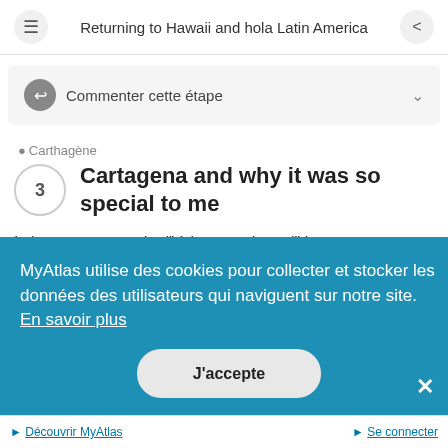Returning to Hawaii and hola Latin America
Commenter cette étape
Carthagène
Cartagena and why it was so special to me
I chose to stay at the "Volunteers hostel" in
MyAtlas utilise des cookies pour collecter et stocker les données des utilisateurs qui naviguent sur notre site.  En savoir plus
J'accepte
Découvrir MyAtlas   Se connecter